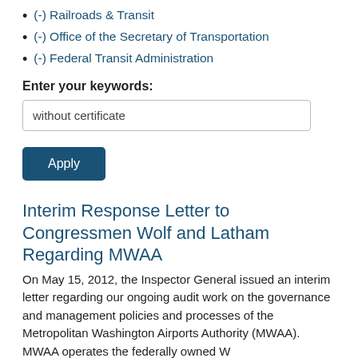(-) Railroads & Transit
(-) Office of the Secretary of Transportation
(-) Federal Transit Administration
Enter your keywords:
without certificate
Apply
Interim Response Letter to Congressmen Wolf and Latham Regarding MWAA
On May 15, 2012, the Inspector General issued an interim letter regarding our ongoing audit work on the governance and management policies and processes of the Metropolitan Washington Airports Authority (MWAA).  MWAA operates the federally owned W
Library Item   Date: 05.15.2012